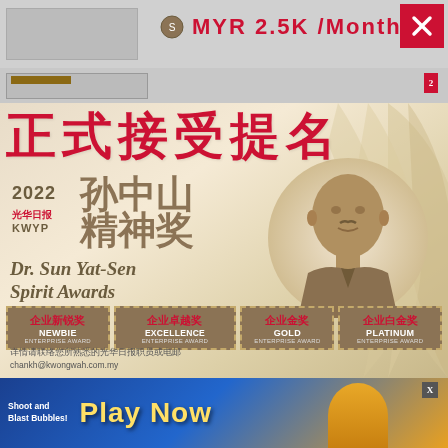MYR 2.5K /Month
[Figure (screenshot): Screenshot of a Malaysian job/news website showing a popup advertisement for the 2022 Kwong Wah Yit Poh (光华日报) KWYP Dr. Sun Yat-Sen Spirit Awards. The popup has a beige/gold gradient background with decorative ribbon elements. A large red Chinese headline reads 正式接受提名. The award logo shows 2022 孙中山精神奖 KWYP Dr. Sun Yat-Sen Spirit Awards with a portrait silhouette of Dr. Sun Yat-Sen in gold/brown tones. Four award categories are shown as stamp-style boxes: 企业新锐奖 NEWBIE ENTERPRISE AWARD, 企业卓越奖 EXCELLENCE ENTERPRISE AWARD, 企业金奖 GOLD ENTERPRISE AWARD, 企业白金奖 PLATINUM ENTERPRISE AWARD. Contact info: chankh@kwongwah.com.my. At the bottom is an ad banner for a game saying Shoot and Blast Bubbles! Play Now.]
正式接受提名
2022 孙中山 精神奖
光华日报 KWYP Dr. Sun Yat-Sen Spirit Awards
企业新锐奖 NEWBIE ENTERPRISE AWARD
企业卓越奖 EXCELLENCE ENTERPRISE AWARD
企业金奖 GOLD ENTERPRISE AWARD
企业白金奖 PLATINUM ENTERPRISE AWARD
详情请联络您所熟悉的光华日报职员或电邮 chankh@kwongwah.com.my
Shoot and Blast Bubbles! Play Now